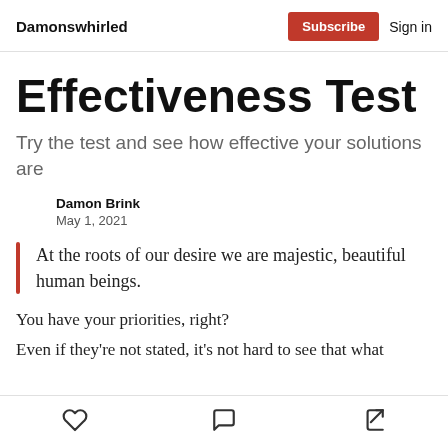Damonswhirled | Subscribe | Sign in
Effectiveness Test
Try the test and see how effective your solutions are
Damon Brink
May 1, 2021
At the roots of our desire we are majestic, beautiful human beings.
You have your priorities, right?
Even if they're not stated, it's not hard to see that what
Like | Comment | Share